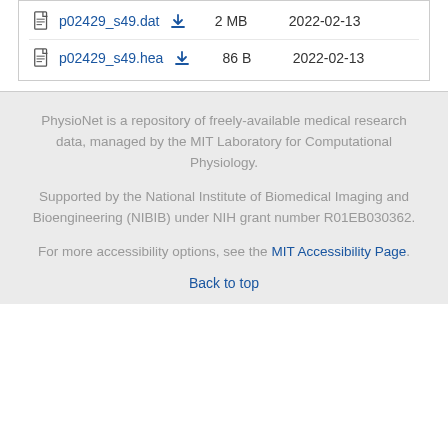p02429_s49.dat  2 MB  2022-02-13
p02429_s49.hea  86 B  2022-02-13
PhysioNet is a repository of freely-available medical research data, managed by the MIT Laboratory for Computational Physiology.
Supported by the National Institute of Biomedical Imaging and Bioengineering (NIBIB) under NIH grant number R01EB030362.
For more accessibility options, see the MIT Accessibility Page.
Back to top